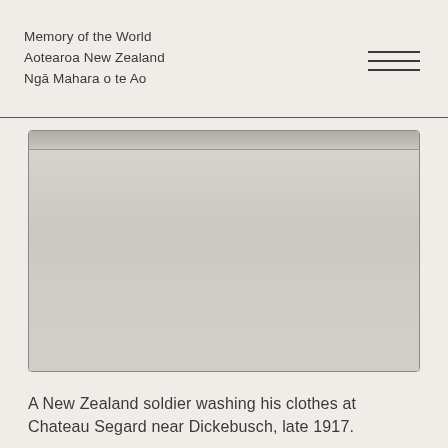Memory of the World
Aotearoa New Zealand
Ngā Mahara o te Ao
[Figure (photo): A photograph of a New Zealand soldier washing his clothes at Chateau Segard near Dickebusch, late 1917. The image appears mostly as a light grey/beige area with a horizontal bar at the top (partially cropped or faded photograph).]
A New Zealand soldier washing his clothes at Chateau Segard near Dickebusch, late 1917.